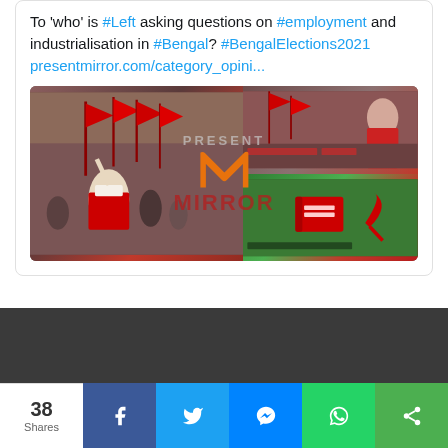To 'who' is #Left asking questions on #employment and industrialisation in #Bengal? #BengalElections2021 presentmirror.com/category_opini...
[Figure (photo): Composite image showing Left/political rally scenes in Bengal with red flags and crowds, overlaid with 'PRESENT MIRROR' watermark logo]
38 Shares